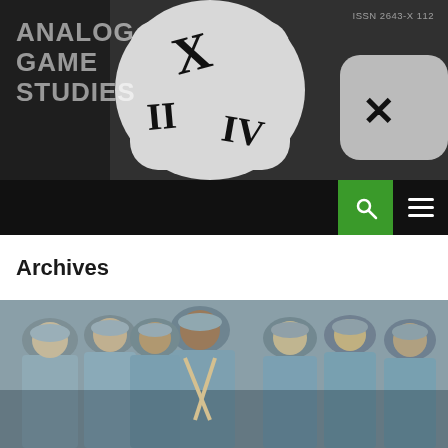ANALOG GAME STUDIES  ISSN 2643-X 112
Archives
[Figure (photo): Colorized historical photograph of WWI French soldiers in light blue uniforms and Adrian helmets, standing together in a group, several displaying medals]